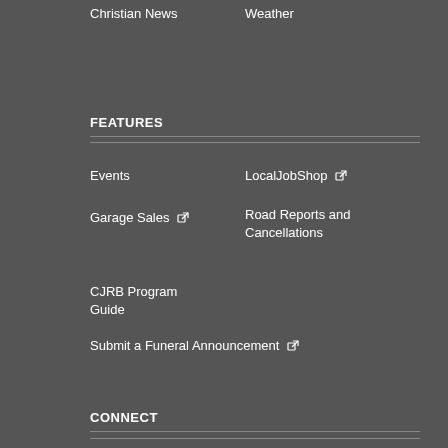Christian News
Weather
FEATURES
Events
LocalJobShop (external link)
Garage Sales (external link)
Road Reports and Cancellations
CJRB Program Guide
Submit a Funeral Announcement (external link)
CONNECT